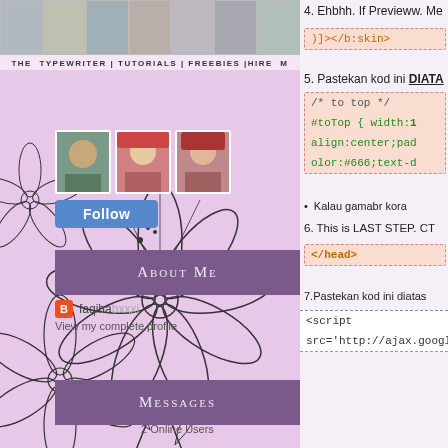[Figure (screenshot): Left panel of a blog sidebar showing photo strip, flower illustration, Follow button with avatars, About Me section, blogger profile link, Messages section, and online users count]
4. Ehbhh. If Previeww. Me
)]></b:skin>
5. Pastekan kod ini DIATA
/* to top */
#toTop { width:1
align:center;pad
olor:#666;text-d
Kalau gamabr kora
6. This is LAST STEP. CT
</head>
7.Pastekan kod ini diatas
<script
src='http://ajax.googleapi